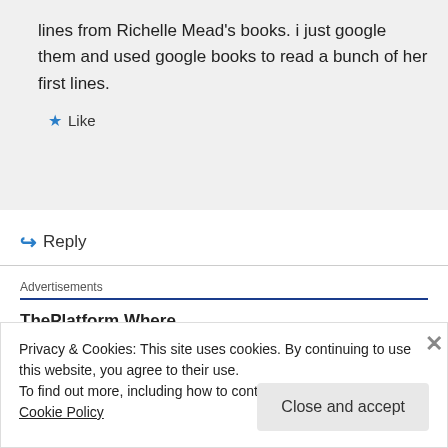lines from Richelle Mead's books. i just google them and used google books to read a bunch of her first lines.
★ Like
↪ Reply
Advertisements
[Figure (infographic): Advertisement banner: ThePlatform Where WordPress Works Best — Pressable logo]
REPORT THIS AD
Privacy & Cookies: This site uses cookies. By continuing to use this website, you agree to their use.
To find out more, including how to control cookies, see here: Cookie Policy
Close and accept